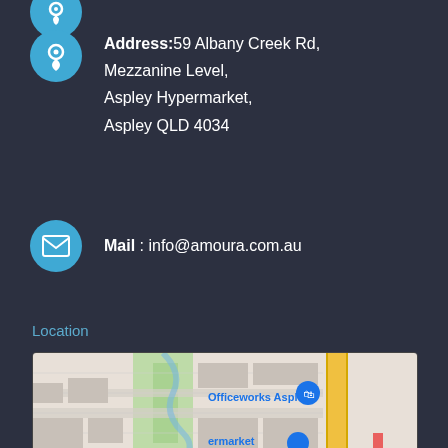Address: 59 Albany Creek Rd, Mezzanine Level, Aspley Hypermarket, Aspley QLD 4034
Mail : info@amoura.com.au
Location
[Figure (map): Google Maps partial view showing Officeworks Aspley location near Albany Creek Rd, Aspley QLD 4034]